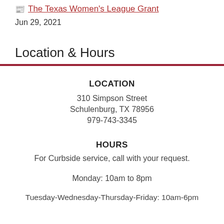🗞 The Texas Women's League Grant
Jun 29, 2021
Location & Hours
LOCATION
310 Simpson Street
Schulenburg, TX 78956
979-743-3345
HOURS
For Curbside service, call with your request.
Monday: 10am to 8pm
Tuesday-Wednesday-Thursday-Friday: 10am-6pm